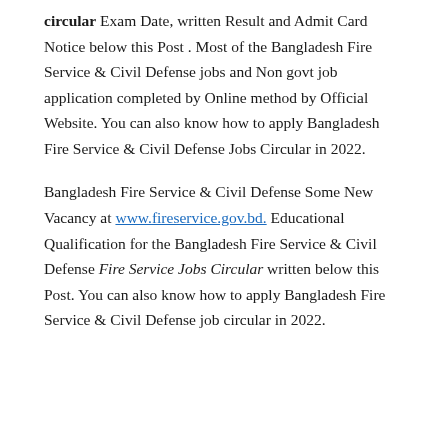circular Exam Date, written Result and Admit Card Notice below this Post . Most of the Bangladesh Fire Service & Civil Defense jobs and Non govt job application completed by Online method by Official Website. You can also know how to apply Bangladesh Fire Service & Civil Defense Jobs Circular in 2022.
Bangladesh Fire Service & Civil Defense Some New Vacancy at www.fireservice.gov.bd. Educational Qualification for the Bangladesh Fire Service & Civil Defense Fire Service Jobs Circular written below this Post. You can also know how to apply Bangladesh Fire Service & Civil Defense job circular in 2022.